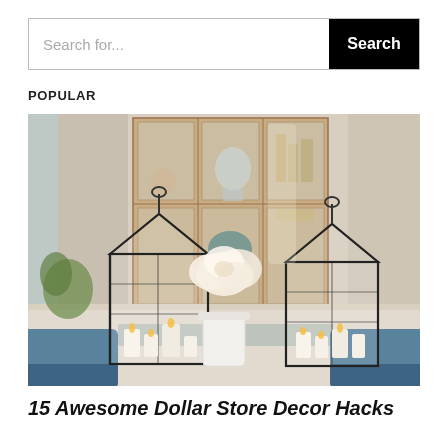Search for...  [Search button]
POPULAR
[Figure (photo): Interior dining room scene with two black glass lanterns holding white candles on a table, white flower arrangement in center vase, wooden display cabinet in background with dishes and items on shelves, blue chairs visible at table edges.]
15 Awesome Dollar Store Decor Hacks